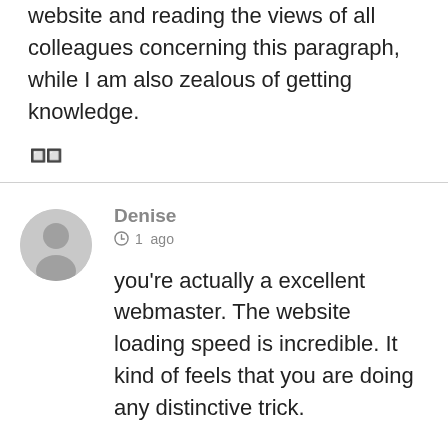website and reading the views of all colleagues concerning this paragraph, while I am also zealous of getting knowledge.
🔲🔲
Denise
🕐 1  ago
you're actually a excellent webmaster. The website loading speed is incredible. It kind of feels that you are doing any distinctive trick.